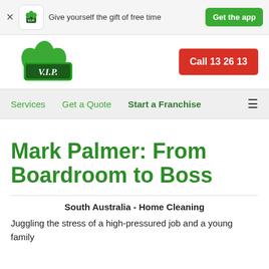Give yourself the gift of free time  Get the app
[Figure (logo): V.I.P. Home Services logo with green leaf motif and dark green badge with V.I.P. text]
Call 13 26 13
Services   Get a Quote   Start a Franchise
Mark Palmer: From Boardroom to Boss
South Australia - Home Cleaning
Juggling the stress of a high-pressured job and a young family